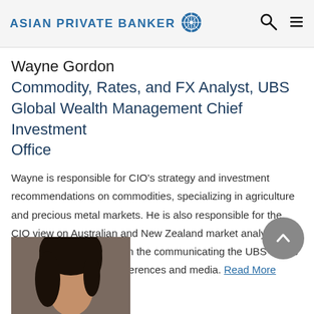ASIAN PRIVATE BANKER
Wayne Gordon
Commodity, Rates, and FX Analyst, UBS Global Wealth Management Chief Investment Office
Wayne is responsible for CIO’s strategy and investment recommendations on commodities, specializing in agriculture and precious metal markets. He is also responsible for the CIO view on Australian and New Zealand market analysis. Wayne is a key speaker in the communicating the UBS house view across industry conferences and media. Read More
[Figure (photo): Partial portrait photo of a woman with dark hair, cropped at bottom of page]